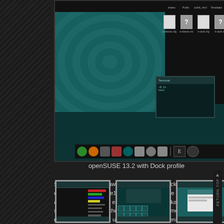[Figure (screenshot): openSUSE 13.2 desktop screenshot showing a teal/dark themed desktop with file manager icons on the right side, a terminal window, and a taskbar at the bottom with various application icons]
openSUSE 13.2 with Dock profile
Some changes to be aware of are, the e19 package is now called enlightenment, e18 is now availble in the e17 package and for those who use e16 it is now in the package named something other then the one called enlightenment. Unfortunatly not all the patterns got updated so the enlightenment pattern will still install e17. e19.1 and a new efl version will be pushed to openSUSE 13.2 as maintenance updates over the next couple of weeks.
[Figure (screenshot): Small thumbnail screenshot 1: Dark themed desktop with color bar chart widget visible]
[Figure (screenshot): Small thumbnail screenshot 2: Teal desktop with dark application window and grid of icons]
[Figure (screenshot): Small thumbnail screenshot 3: Teal desktop with light colored application window]